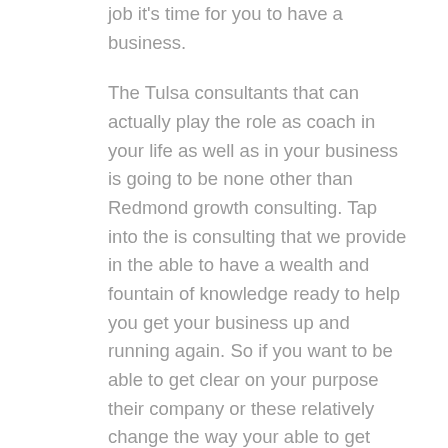job it's time for you to have a business.
The Tulsa consultants that can actually play the role as coach in your life as well as in your business is going to be none other than Redmond growth consulting. Tap into the is consulting that we provide in the able to have a wealth and fountain of knowledge ready to help you get your business up and running again. So if you want to be able to get clear on your purpose their company or these relatively change the way your able to get experience in your company I have to do is call. That's over here for obviously want to make sure that were doing this always can be crystal clear. We want to focus on the why also focus on the important items that need to be increased as well as pulling away from distractions and negativity.
The Tulsa consultants also make sure that they are super clear their answers as well as offering better